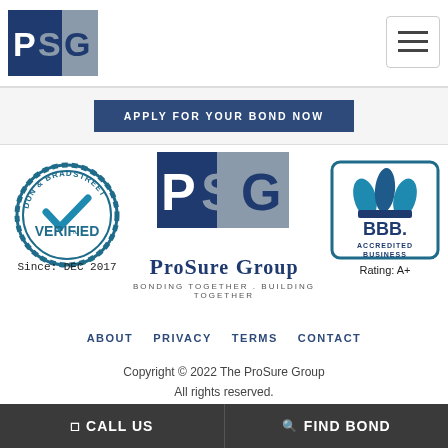[Figure (logo): PSG logo - navy and gray square with letters P S G]
[Figure (other): Hamburger menu icon (three horizontal lines) in a bordered box]
APPLY FOR YOUR BOND NOW
[Figure (logo): Dun & Bradstreet VERIFIED seal - circular badge, Since: DEC 2017]
[Figure (logo): ProSure Group logo - large PSG square icon with ProSure Group text and tagline BONDING TOGETHER . BUILDING TOGETHER]
[Figure (logo): BBB Accredited Business logo with Rating: A+]
ABOUT   PRIVACY   TERMS   CONTACT
Copyright © 2022 The ProSure Group
All rights reserved.
[Figure (other): reCAPTCHA widget partially visible]
CALL US   FIND BOND